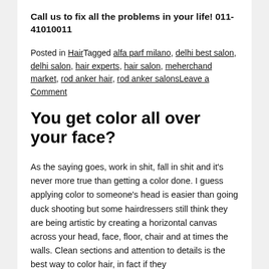Call us to fix all the problems in your life! 011-41010011
Posted in HairTagged alfa parf milano, delhi best salon, delhi salon, hair experts, hair salon, meherchand market, rod anker hair, rod anker salonsLeave a Comment
You get color all over your face?
As the saying goes, work in shit, fall in shit and it's never more true than getting a color done. I guess applying color to someone's head is easier than going duck shooting but some hairdressers still think they are being artistic by creating a horizontal canvas across your head, face, floor, chair and at times the walls. Clean sections and attention to details is the best way to color hair, in fact if they